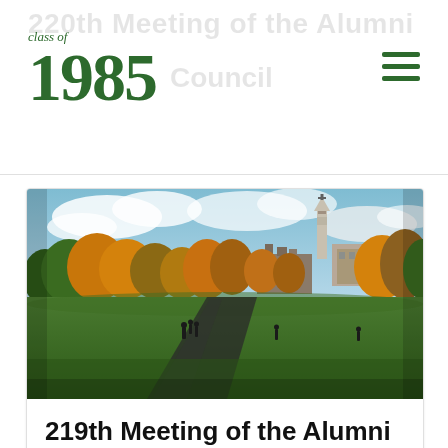220th Meeting of the Alumni Council — class of 1985
[Figure (photo): Autumn campus scene with green lawn, colorful trees, a church steeple in the background, and cloudy sky. People visible on the green.]
219th Meeting of the Alumni Council